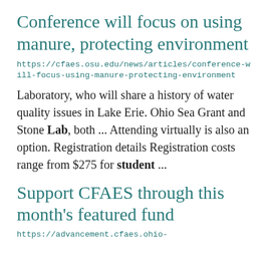Conference will focus on using manure, protecting environment
https://cfaes.osu.edu/news/articles/conference-will-focus-using-manure-protecting-environment
Laboratory, who will share a history of water quality issues in Lake Erie. Ohio Sea Grant and Stone Lab, both ... Attending virtually is also an option. Registration details Registration costs range from $275 for student ...
Support CFAES through this month's featured fund
https://advancement.cfaes.ohio-